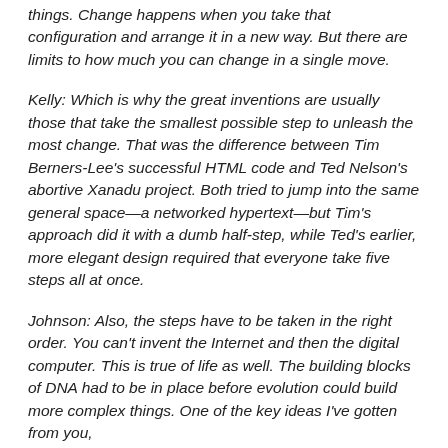things. Change happens when you take that configuration and arrange it in a new way. But there are limits to how much you can change in a single move.
Kelly: Which is why the great inventions are usually those that take the smallest possible step to unleash the most change. That was the difference between Tim Berners-Lee's successful HTML code and Ted Nelson's abortive Xanadu project. Both tried to jump into the same general space—a networked hypertext—but Tim's approach did it with a dumb half-step, while Ted's earlier, more elegant design required that everyone take five steps all at once.
Johnson: Also, the steps have to be taken in the right order. You can't invent the Internet and then the digital computer. This is true of life as well. The building blocks of DNA had to be in place before evolution could build more complex things. One of the key ideas I've gotten from you,